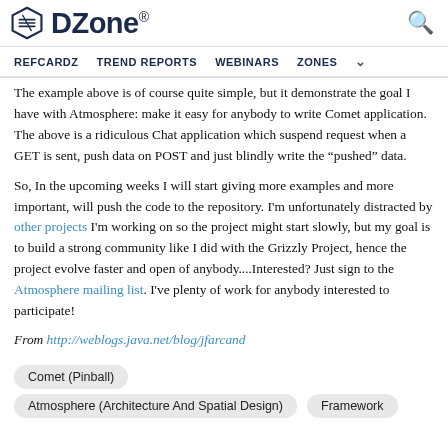DZone | REFCARDZ  TREND REPORTS  WEBINARS  ZONES
The example above is of course quite simple, but it demonstrate the goal I have with Atmosphere: make it easy for anybody to write Comet application. The above is a ridiculous Chat application which suspend request when a GET is sent, push data on POST and just blindly write the "pushed" data.
So, In the upcoming weeks I will start giving more examples and more important, will push the code to the repository. I'm unfortunately distracted by other projects I'm working on so the project might start slowly, but my goal is to build a strong community like I did with the Grizzly Project, hence the project evolve faster and open of anybody....Interested? Just sign to the Atmosphere mailing list. I've plenty of work for anybody interested to participate!
From http://weblogs.java.net/blog/jfarcand
Comet (Pinball)
Atmosphere (Architecture And Spatial Design)   Framework